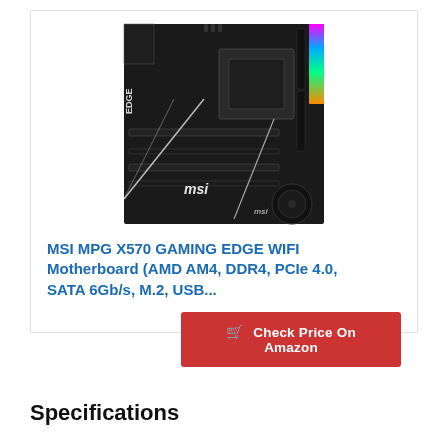[Figure (photo): MSI MPG X570 GAMING EDGE WIFI motherboard product photo — black ATX board with RGB lighting on the right side memory slots, white geometric accent lines, MSI branding, AM4 socket, multiple PCIe slots, fan in bottom right corner]
MSI MPG X570 GAMING EDGE WIFI Motherboard (AMD AM4, DDR4, PCIe 4.0, SATA 6Gb/s, M.2, USB...
Check Price On Amazon
Specifications